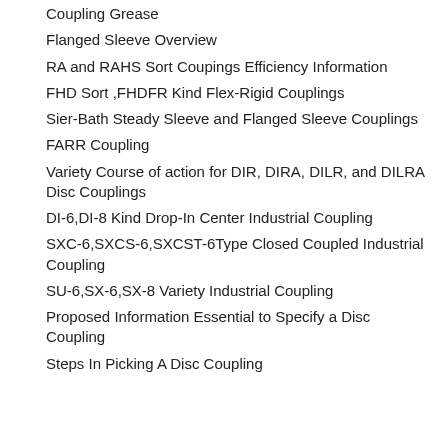Coupling Grease
Flanged Sleeve Overview
RA and RAHS Sort Coupings Efficiency Information
FHD Sort ,FHDFR Kind Flex-Rigid Couplings
Sier-Bath Steady Sleeve and Flanged Sleeve Couplings
FARR Coupling
Variety Course of action for DIR, DIRA, DILR, and DILRA Disc Couplings
DI-6,DI-8 Kind Drop-In Center Industrial Coupling
SXC-6,SXCS-6,SXCST-6Type Closed Coupled Industrial Coupling
SU-6,SX-6,SX-8 Variety Industrial Coupling
Proposed Information Essential to Specify a Disc Coupling
Steps In Picking A Disc Coupling